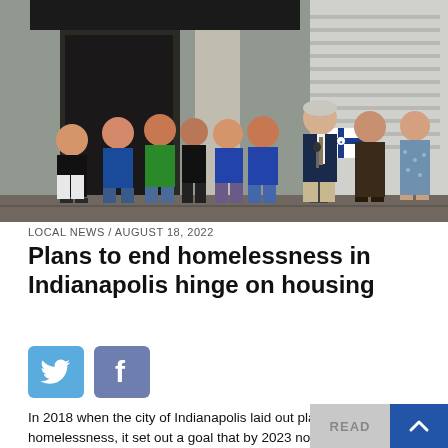[Figure (photo): Group of people standing outside a building. On the left, several people in colorful t-shirts including one reading 'Black Trans Lives Matter'. On the right, a man in a suit speaks at a podium with an Indianapolis city flag (blue cross on white), flanked by two other officials.]
LOCAL NEWS / AUGUST 18, 2022
Plans to end homelessness in Indianapolis hinge on housing
[Figure (other): Social media share buttons: Twitter (bird icon) and Facebook (f icon)]
In 2018 when the city of Indianapolis laid out plans to end homelessness, it set out a goal that by 2023 no one experiences more than 30 days without a permanent, safe, affordable place to live.